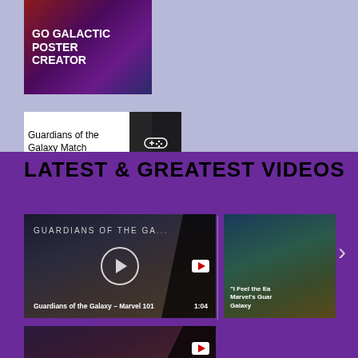[Figure (screenshot): Go Galactic Poster Creator thumbnail with animated characters on red-purple background]
[Figure (screenshot): Guardians of the Galaxy Match game thumbnail with gamepad icon overlay]
LATEST & GREATEST VIDEOS
[Figure (screenshot): Guardians of the Galaxy Marvel 101 video thumbnail with Groot and play button, duration 1:04]
[Figure (screenshot): "I Feel the Earth" Marvel's Guardians of the Galaxy video thumbnail]
[Figure (screenshot): Second video thumbnail at bottom of page, partially visible]